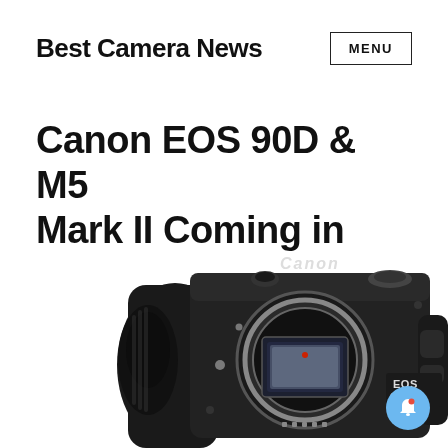Best Camera News
Canon EOS 90D & M5 Mark II Coming in 2019 ?
[Figure (photo): Canon EOS 90D DSLR camera body (front view, no lens attached), black, showing mirror box and lens mount contacts. 'Canon' branding on top, 'EOS 90D' label on right side.]